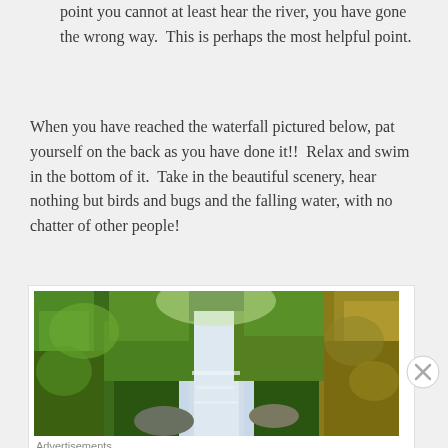point you cannot at least hear the river, you have gone the wrong way.  This is perhaps the most helpful point.
When you have reached the waterfall pictured below, pat yourself on the back as you have done it!!  Relax and swim in the bottom of it.  Take in the beautiful scenery, hear nothing but birds and bugs and the falling water, with no chatter of other people!
[Figure (photo): A lush green forest gorge with a stream or waterfall flowing through mossy rock walls and dense vegetation.]
Advertisements